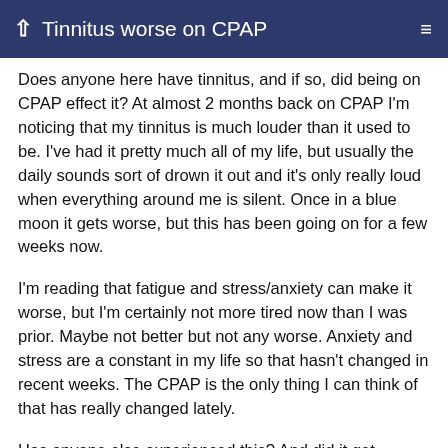Tinnitus worse on CPAP
Does anyone here have tinnitus, and if so, did being on CPAP effect it? At almost 2 months back on CPAP I'm noticing that my tinnitus is much louder than it used to be. I've had it pretty much all of my life, but usually the daily sounds sort of drown it out and it's only really loud when everything around me is silent. Once in a blue moon it gets worse, but this has been going on for a few weeks now.
I'm reading that fatigue and stress/anxiety can make it worse, but I'm certainly not more tired now than I was prior. Maybe not better but not any worse. Anxiety and stress are a constant in my life so that hasn't changed in recent weeks. The CPAP is the only thing I can think of that has really changed lately.
Has anyone else experienced this? And did it get